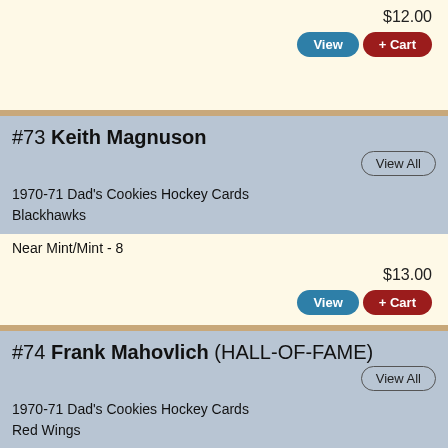$12.00
View  + Cart
#73 Keith Magnuson
View All
1970-71 Dad's Cookies Hockey Cards
Blackhawks
Near Mint/Mint - 8
$13.00
View  + Cart
#74 Frank Mahovlich (HALL-OF-FAME)
View All
1970-71 Dad's Cookies Hockey Cards
Red Wings
Near Mint/Mint - 8
$14.50
View  + Cart
#75 Chico Maki
View All